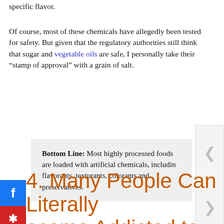specific flavor.
Of course, most of these chemicals have allegedly been tested for safety. But given that the regulatory authorities still think that sugar and vegetable oils are safe, I personally take their “stamp of approval” with a grain of salt.
Bottom Line: Most highly processed foods are loaded with artificial chemicals, including flavorants, texturants, colorants and preservatives.
4. Many People Can Literally Become Addicted to Processed Junk Foods